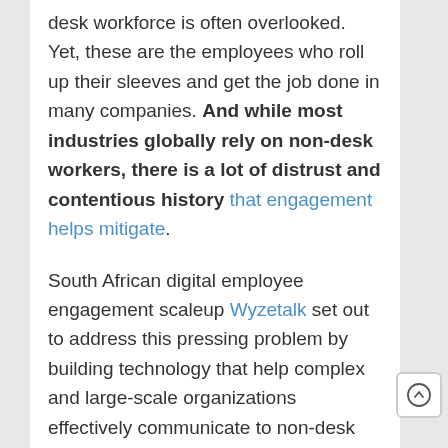desk workforce is often overlooked. Yet, these are the employees who roll up their sleeves and get the job done in many companies. And while most industries globally rely on non-desk workers, there is a lot of distrust and contentious history that engagement helps mitigate.

South African digital employee engagement scaleup Wyzetalk set out to address this pressing problem by building technology that help complex and large-scale organizations effectively communicate to non-desk employees on mobile devices in order to build trust and